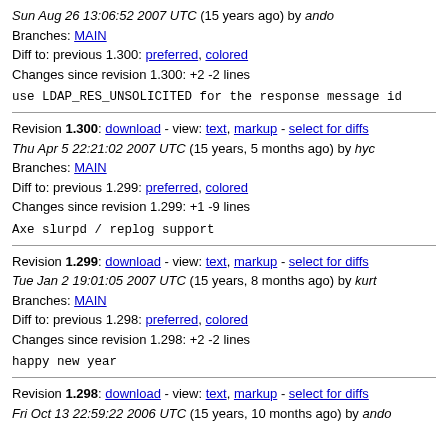Sun Aug 26 13:06:52 2007 UTC (15 years ago) by ando
Branches: MAIN
Diff to: previous 1.300: preferred, colored
Changes since revision 1.300: +2 -2 lines

use LDAP_RES_UNSOLICITED for the response message id
Revision 1.300: download - view: text, markup - select for diffs
Thu Apr 5 22:21:02 2007 UTC (15 years, 5 months ago) by hyc
Branches: MAIN
Diff to: previous 1.299: preferred, colored
Changes since revision 1.299: +1 -9 lines

Axe slurpd / replog support
Revision 1.299: download - view: text, markup - select for diffs
Tue Jan 2 19:01:05 2007 UTC (15 years, 8 months ago) by kurt
Branches: MAIN
Diff to: previous 1.298: preferred, colored
Changes since revision 1.298: +2 -2 lines

happy new year
Revision 1.298: download - view: text, markup - select for diffs
Fri Oct 13 22:59:22 2006 UTC (15 years, 10 months ago) by ando